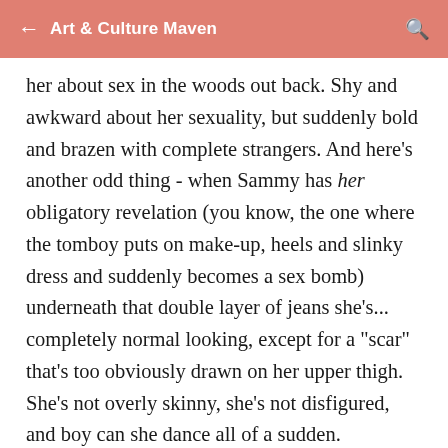Art & Culture Maven
her about sex in the woods out back. Shy and awkward about her sexuality, but suddenly bold and brazen with complete strangers. And here's another odd thing - when Sammy has her obligatory revelation (you know, the one where the tomboy puts on make-up, heels and slinky dress and suddenly becomes a sex bomb) underneath that double layer of jeans she's... completely normal looking, except for a "scar" that's too obviously drawn on her upper thigh. She's not overly skinny, she's not disfigured, and boy can she dance all of a sudden.